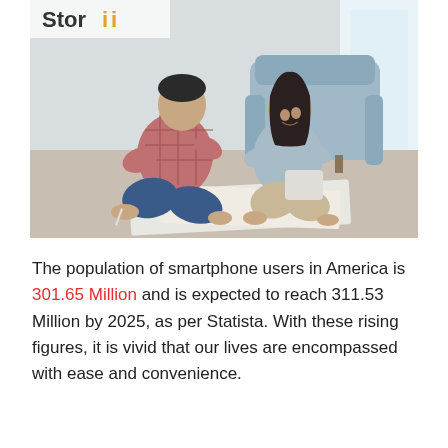[Figure (photo): A couple sitting on the floor looking at papers/tablet together, with a blue sofa in the background and natural light from a window. The Storii logo appears in the top-left corner of the image.]
The population of smartphone users in America is 301.65 Million and is expected to reach 311.53 Million by 2025, as per Statista. With these rising figures, it is vivid that our lives are encompassed with ease and convenience.